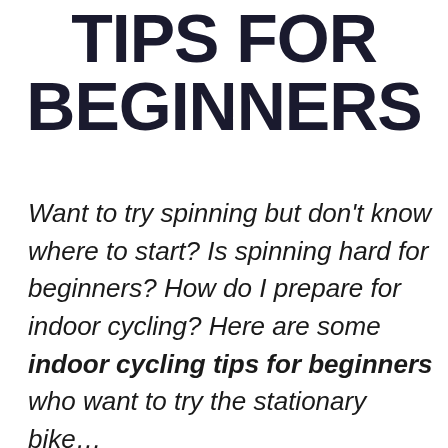TIPS FOR BEGINNERS
Want to try spinning but don't know where to start? Is spinning hard for beginners? How do I prepare for indoor cycling? Here are some indoor cycling tips for beginners who want to try the stationary bike…